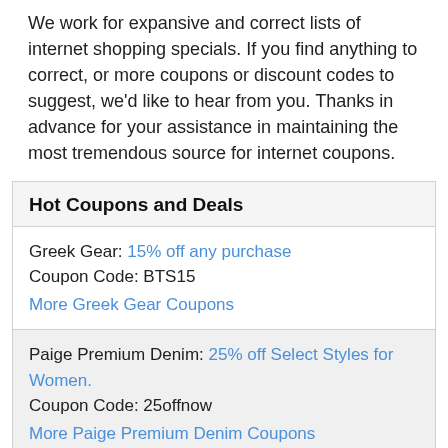We work for expansive and correct lists of internet shopping specials. If you find anything to correct, or more coupons or discount codes to suggest, we'd like to hear from you. Thanks in advance for your assistance in maintaining the most tremendous source for internet coupons.
Hot Coupons and Deals
Greek Gear: 15% off any purchase
Coupon Code: BTS15
More Greek Gear Coupons
Paige Premium Denim: 25% off Select Styles for Women.
Coupon Code: 25offnow
More Paige Premium Denim Coupons
O'Neill: 15% off Sitewide and Free Shipping on $99+ Orders